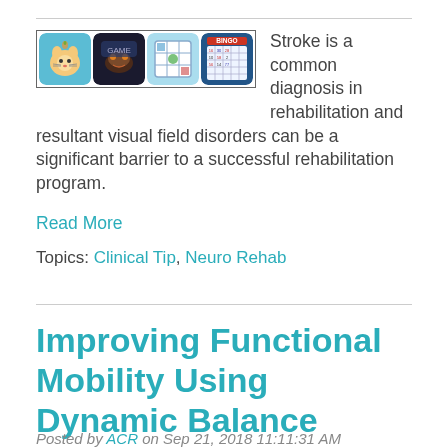[Figure (screenshot): Four game app icons shown side by side: a cartoon cat game, a dark game, a grid/bingo-style game, and a bingo card game.]
Stroke is a common diagnosis in rehabilitation and resultant visual field disorders can be a significant barrier to a successful rehabilitation program.
Read More
Topics: Clinical Tip, Neuro Rehab
Improving Functional Mobility Using Dynamic Balance Training
Posted by ACR on Sep 21, 2018 11:11:31 AM